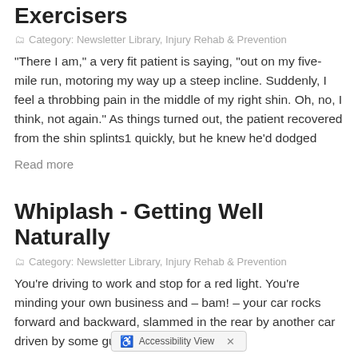Exercisers
Category: Newsletter Library, Injury Rehab & Prevention
"There I am," a very fit patient is saying, "out on my five-mile run, motoring my way up a steep incline. Suddenly, I feel a throbbing pain in the middle of my right shin. Oh, no, I think, not again." As things turned out, the patient recovered from the shin splints1 quickly, but he knew he'd dodged
Read more
Whiplash - Getting Well Naturally
Category: Newsletter Library, Injury Rehab & Prevention
You're driving to work and stop for a red light. You're minding your own business and – bam! – your car rocks forward and backward, slammed in the rear by another car driven by some guy yakk... or you're a